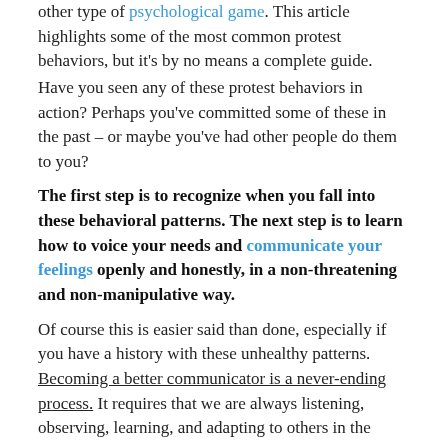other type of psychological game. This article highlights some of the most common protest behaviors, but it's by no means a complete guide.
Have you seen any of these protest behaviors in action? Perhaps you've committed some of these in the past – or maybe you've had other people do them to you?
The first step is to recognize when you fall into these behavioral patterns. The next step is to learn how to voice your needs and communicate your feelings openly and honestly, in a non-threatening and non-manipulative way.
Of course this is easier said than done, especially if you have a history with these unhealthy patterns. Becoming a better communicator is a never-ending process. It requires that we are always listening, observing, learning, and adapting to others in the moment.